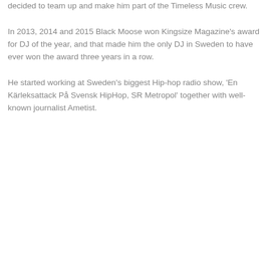decided to team up and make him part of the Timeless Music crew.
In 2013, 2014 and 2015 Black Moose won Kingsize Magazine's award for DJ of the year, and that made him the only DJ in Sweden to have ever won the award three years in a row.
He started working at Sweden's biggest Hip-hop radio show, 'En Kärleksattack På Svensk HipHop, SR Metropol' together with well-known journalist Ametist.